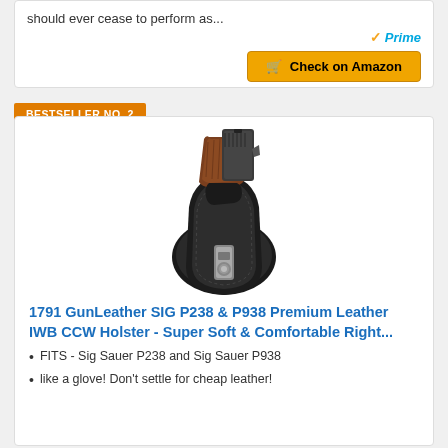should ever cease to perform as...
[Figure (screenshot): Amazon Prime logo with checkmark and 'Check on Amazon' button]
BESTSELLER NO. 2
[Figure (photo): 1791 GunLeather IWB holster with pistol inserted, black leather holster with metal clip]
1791 GunLeather SIG P238 & P938 Premium Leather IWB CCW Holster - Super Soft & Comfortable Right...
FITS - Sig Sauer P238 and Sig Sauer P938
like a glove! Don't settle for cheap leather!